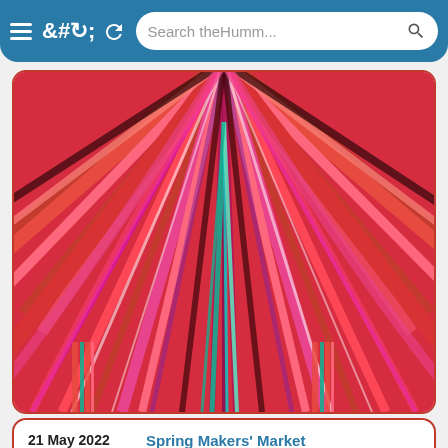Search theHumm...
[Figure (photo): Abstract artwork featuring densely layered colorful stripes and lines in shades of red, pink, magenta, with some green accents, radiating in various directions creating a complex woven or fan-like pattern.]
21 May 2022
Saturday
Spring Makers' Market
N/A
Stained glass, beeswax candles, handmade cards, pottery, photographic prints, jewelry, food, handcrafted clothing, and more. There will also be a